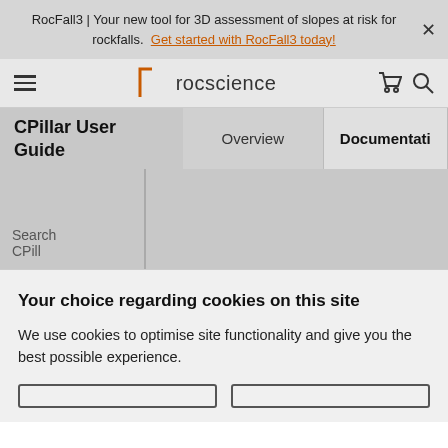RocFall3 | Your new tool for 3D assessment of slopes at risk for rockfalls. Get started with RocFall3 today!
[Figure (screenshot): Rocscience navigation bar with hamburger menu, rocscience logo (bracket + text), cart icon, and search icon]
CPillar User Guide
Overview
Documentation
Search CPill...
Your choice regarding cookies on this site
We use cookies to optimise site functionality and give you the best possible experience.